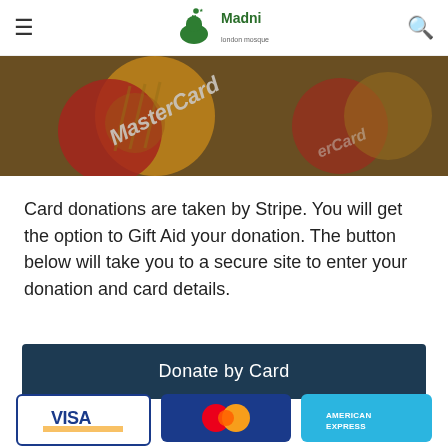Madni
[Figure (photo): Close-up photo of MasterCard credit/debit cards on a surface, showing the MasterCard logo prominently with gold and red circles.]
Card donations are taken by Stripe. You will get the option to Gift Aid your donation. The button below will take you to a secure site to enter your donation and card details.
Donate by Card
[Figure (infographic): Payment card logos: Visa, Mastercard, American Express]